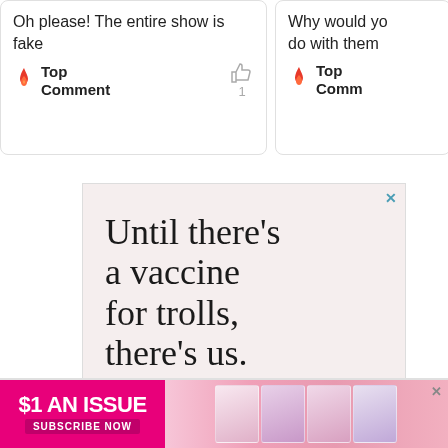Oh please! The entire show is fake
Top Comment
Why would yo
do with them
Top Comm
[Figure (screenshot): Advertisement with pink/beige background and large serif text: 'Until there’s a vaccine for trolls, there’s us.']
[Figure (infographic): Bottom banner ad: '$1 AN ISSUE SUBSCRIBE NOW' with magazine covers on a pink background]